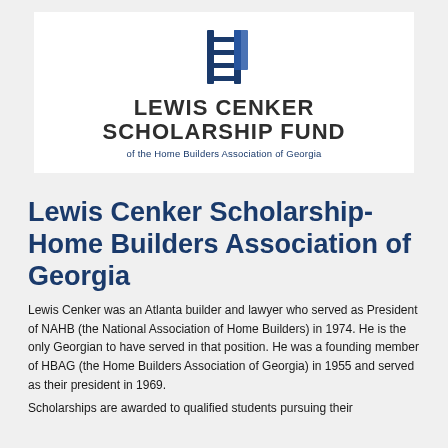[Figure (logo): Lewis Cenker Scholarship Fund logo with ladder/building icon, bold text 'LEWIS CENKER SCHOLARSHIP FUND' and subtitle 'of the Home Builders Association of Georgia']
Lewis Cenker Scholarship- Home Builders Association of Georgia
Lewis Cenker was an Atlanta builder and lawyer who served as President of NAHB (the National Association of Home Builders) in 1974. He is the only Georgian to have served in that position. He was a founding member of HBAG (the Home Builders Association of Georgia) in 1955 and served as their president in 1969.
Scholarships are awarded to qualified students pursuing...